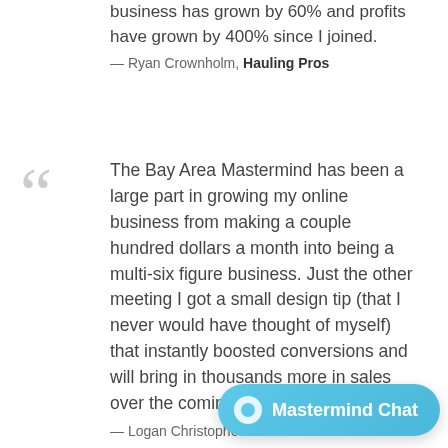business has grown by 60% and profits have grown by 400% since I joined.
— Ryan Crownholm, Hauling Pros
The Bay Area Mastermind has been a large part in growing my online business from making a couple hundred dollars a month into being a multi-six figure business. Just the other meeting I got a small design tip (that I never would have thought of myself) that instantly boosted conversions and will bring in thousands more in sales over the coming months.
— Logan Christopher